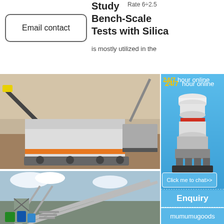Study Bench-Scale Tests with Silica
Rate 6÷2.5
is mostly utilized in the
Email contact
[Figure (photo): Mining excavator and mobile crusher equipment at a quarry/open-pit mine site]
[Figure (photo): Industrial conveyor belt structure at a mining or processing facility with blue sky]
[Figure (photo): Cone crusher machine - white and red industrial equipment]
24/7 hour online
Click me to chat>>
Enquiry
mumumugoods